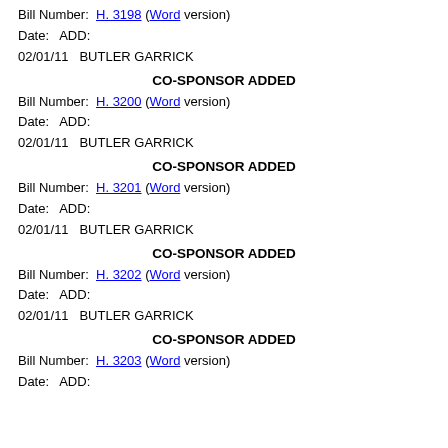Bill Number: H. 3198 (Word version)
Date: ADD:
02/01/11 BUTLER GARRICK
CO-SPONSOR ADDED
Bill Number: H. 3200 (Word version)
Date: ADD:
02/01/11 BUTLER GARRICK
CO-SPONSOR ADDED
Bill Number: H. 3201 (Word version)
Date: ADD:
02/01/11 BUTLER GARRICK
CO-SPONSOR ADDED
Bill Number: H. 3202 (Word version)
Date: ADD:
02/01/11 BUTLER GARRICK
CO-SPONSOR ADDED
Bill Number: H. 3203 (Word version)
Date: ADD: